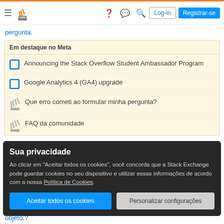Stack Overflow navigation with hamburger menu, logo, help, chat, search icons, Log-in and Registrar-se buttons
pergunta.
Em destaque no Meta
Announcing the Stack Overflow Student Ambassador Program
Google Analytics 4 (GA4) upgrade
Que erro cometi ao formular minha pergunta?
FAQ da comunidade
Sua privacidade
Ao clicar em "Aceitar todos os cookies", você concorda que a Stack Exchange pode guardar cookies no seu dispositivo e utilizar essas informações de acordo com a nossa Política de Cookies.
Aceitar todos os cookies
Personalizar configurações
objeto.?